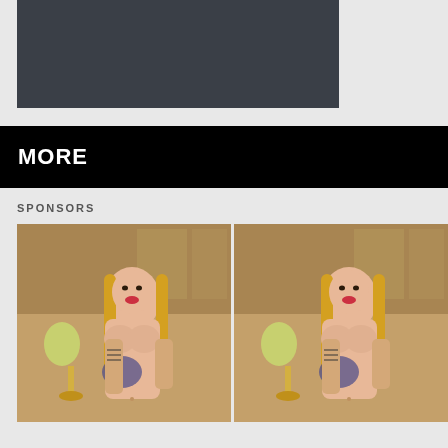[Figure (other): Dark gray/charcoal colored rectangular video placeholder area]
MORE
SPONSORS
[Figure (photo): Photo of a blonde woman with tattoos in an indoor setting with a lamp]
[Figure (photo): Duplicate photo of a blonde woman with tattoos in an indoor setting with a lamp]